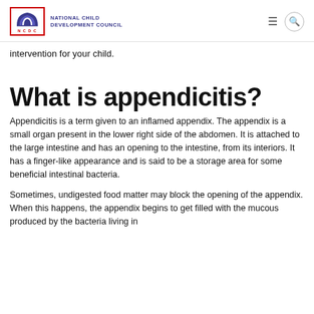NATIONAL CHILD DEVELOPMENT COUNCIL
intervention for your child.
What is appendicitis?
Appendicitis is a term given to an inflamed appendix. The appendix is a small organ present in the lower right side of the abdomen. It is attached to the large intestine and has an opening to the intestine, from its interiors. It has a finger-like appearance and is said to be a storage area for some beneficial intestinal bacteria.
Sometimes, undigested food matter may block the opening of the appendix. When this happens, the appendix begins to get filled with the mucous produced by the bacteria living in